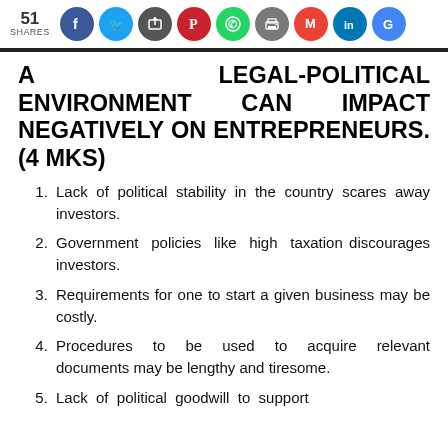51 SHARES
A LEGAL-POLITICAL ENVIRONMENT CAN IMPACT NEGATIVELY ON ENTREPRENEURS. (4 MKS)
Lack of political stability in the country scares away investors.
Government policies like high taxation discourages investors.
Requirements for one to start a given business may be costly.
Procedures to be used to acquire relevant documents may be lengthy and tiresome.
Lack of political goodwill to support